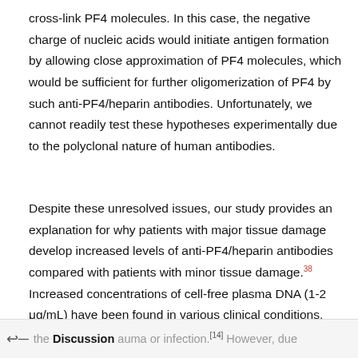cross-link PF4 molecules. In this case, the negative charge of nucleic acids would initiate antigen formation by allowing close approximation of PF4 molecules, which would be sufficient for further oligomerization of PF4 by such anti-PF4/heparin antibodies. Unfortunately, we cannot readily test these hypotheses experimentally due to the polyclonal nature of human antibodies.
Despite these unresolved issues, our study provides an explanation for why patients with major tissue damage develop increased levels of anti-PF4/heparin antibodies compared with patients with minor tissue damage.[38] Increased concentrations of cell-free plasma DNA (1-2 μg/mL) have been found in various clinical conditions, including trauma,[39] cancer,[40] and infections,[41] correlating
the Discussion auma or infection.[14] However, due